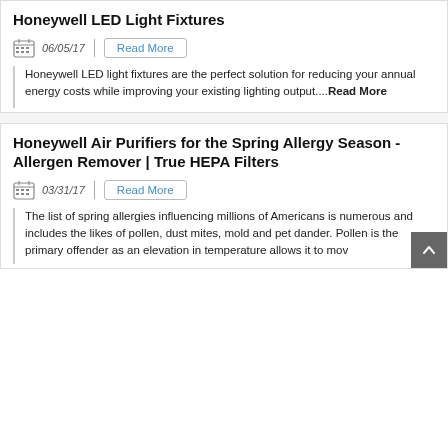Honeywell LED Light Fixtures
06/05/17   Read More
Honeywell LED light fixtures are the perfect solution for reducing your annual energy costs while improving your existing lighting output....Read More
Honeywell Air Purifiers for the Spring Allergy Season - Allergen Remover | True HEPA Filters
03/31/17   Read More
The list of spring allergies influencing millions of Americans is numerous and includes the likes of pollen, dust mites, mold and pet dander. Pollen is the primary offender as an elevation in temperature allows it to mov